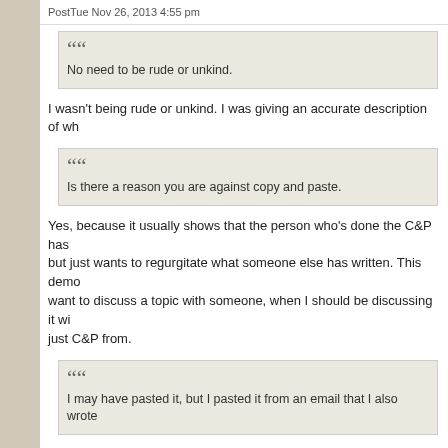PostTue Nov 26, 2013 4:55 pm
No need to be rude or unkind.
I wasn't being rude or unkind. I was giving an accurate description of wh
Is there a reason you are against copy and paste.
Yes, because it usually shows that the person who's done the C&P has but just wants to regurgitate what someone else has written. This demo want to discuss a topic with someone, when I should be discussing it wi just C&P from.
I may have pasted it, but I pasted it from an email that I also wrote
If you'd said that you yourself had written that and were just pasting from been nearly as blunt about it as I was.
Contrast your C&P job with Robdavids, who started this thread: He told to share, and where it was from. I can't quibble with that.
Matthew Henry, John Gill, David Guzik, Tertullian, Jerome, and Hippol
Sorry, but didn't you say 'scholars'? MH, JG and DG are Bible Comm